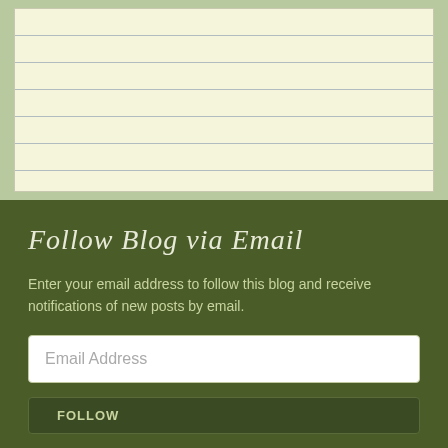[Figure (other): Lined notepad paper area with cream/beige background and horizontal ruled lines, set on a green background]
Follow Blog via Email
Enter your email address to follow this blog and receive notifications of new posts by email.
Email Address
FOLLOW